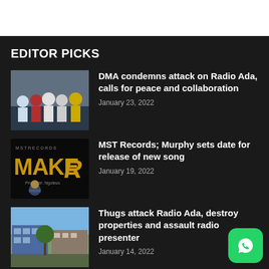EDITOR PICKS
[Figure (photo): Group photo of five men standing indoors]
DMA condemns attack on Radio Ada, calls for peace and collaboration
January 23, 2022
[Figure (photo): MST Records MAKE IT promotional graphic with golden text on black background]
MST Records; Murphy sets date for release of new song
January 19, 2022
[Figure (photo): Exterior photo of building - Radio Ada]
Thugs attack Radio Ada, destroy properties and assault radio presenter
January 14, 2022
[Figure (logo): WhatsApp green icon button]